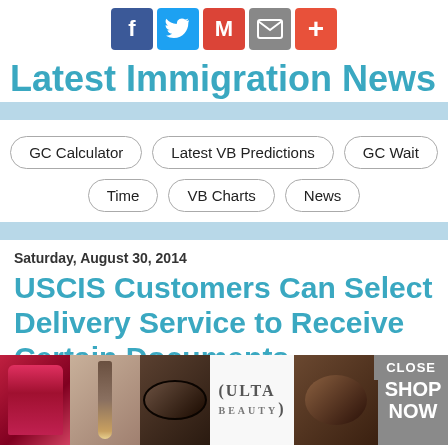[Figure (screenshot): Social sharing buttons: Facebook, Twitter, Gmail, Email, Plus]
Latest Immigration News
[Figure (infographic): Navigation buttons: GC Calculator, Latest VB Predictions, GC Wait Time, VB Charts, News]
Saturday, August 30, 2014
USCIS Customers Can Select Delivery Service to Receive Certain Documents
[Figure (screenshot): ULTA Beauty advertisement with CLOSE button and SHOP NOW call to action]